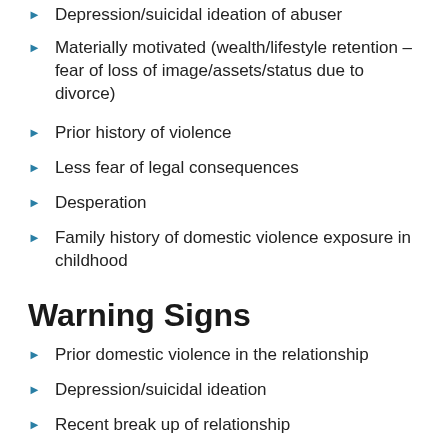Depression/suicidal ideation of abuser
Materially motivated (wealth/lifestyle retention – fear of loss of image/assets/status due to divorce)
Prior history of violence
Less fear of legal consequences
Desperation
Family history of domestic violence exposure in childhood
Warning Signs
Prior domestic violence in the relationship
Depression/suicidal ideation
Recent break up of relationship
Recent protective order/restraining order